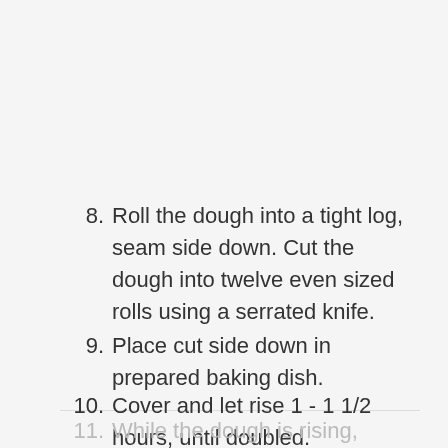8. Roll the dough into a tight log, seam side down. Cut the dough into twelve even sized rolls using a serrated knife.
9. Place cut side down in prepared baking dish.
10. Cover and let rise 1 - 1 1/2 hours, until doubled.
11. While the dough is rising,